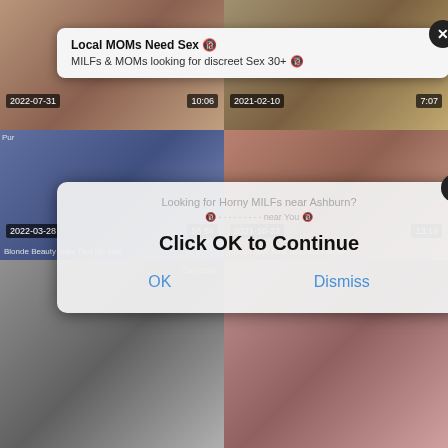[Figure (screenshot): Adult video website screenshot showing a grid of 6 video thumbnails with dates and durations, overlaid by two advertising popups. Top popup reads 'Local MOMs Need Sex' with subtitle 'MILFs & MOMs looking for discreet Sex 30+'. Middle popup says 'Click OK to Continue' with OK and Dismiss buttons. Video titles visible include 'Blonde Beauty Gets Tied Up And' and 'Rough Bwc Anal Sex And Facial -'. Dates visible: 2022-07-31 (10:06), 2021-02-10 (7:07), 2022-03-28 (55:56), 2021-10-22 (13:19).]